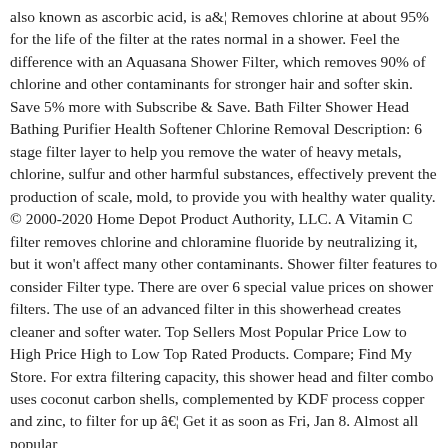also known as ascorbic acid, is a… Removes chlorine at about 95% for the life of the filter at the rates normal in a shower. Feel the difference with an Aquasana Shower Filter, which removes 90% of chlorine and other contaminants for stronger hair and softer skin. Save 5% more with Subscribe & Save. Bath Filter Shower Head Bathing Purifier Health Softener Chlorine Removal Description: 6 stage filter layer to help you remove the water of heavy metals, chlorine, sulfur and other harmful substances, effectively prevent the production of scale, mold, to provide you with healthy water quality. © 2000-2020 Home Depot Product Authority, LLC. A Vitamin C filter removes chlorine and chloramine fluoride by neutralizing it, but it won't affect many other contaminants. Shower filter features to consider Filter type. There are over 6 special value prices on shower filters. The use of an advanced filter in this showerhead creates cleaner and softer water. Top Sellers Most Popular Price Low to High Price High to Low Top Rated Products. Compare; Find My Store. For extra filtering capacity, this shower head and filter combo uses coconut carbon shells, complemented by KDF process copper and zinc, to filter for up â… Get it as soon as Fri, Jan 8. Almost all popular